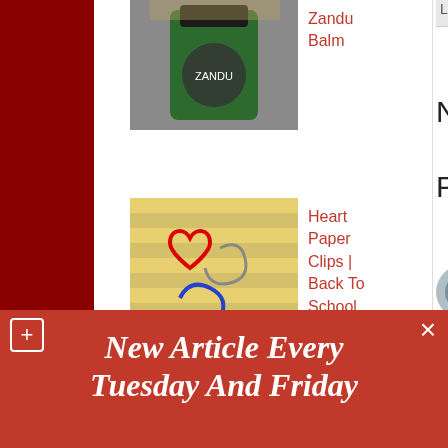[Figure (photo): Green Zandu Balm container with dark green cap on a glittery surface]
Zandu Balm
[Figure (photo): Heart-shaped paper clips in red and blue on yellow striped paper]
Heart Paper Clips | Back To School DIY
Labels: BackToSchool, Craf...
No comments:
Post a Comment
Enter Comment...
Newer Post
Subscribe to: Post Commen...
New Article Every Tuesday And Friday
Your email
Submit